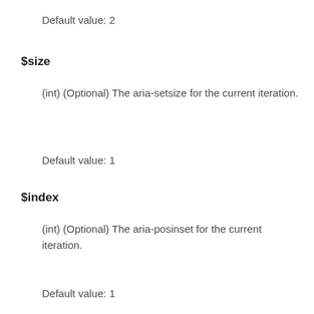Default value: 2
$size
(int) (Optional) The aria-setsize for the current iteration.
Default value: 1
$index
(int) (Optional) The aria-posinset for the current iteration.
Default value: 1